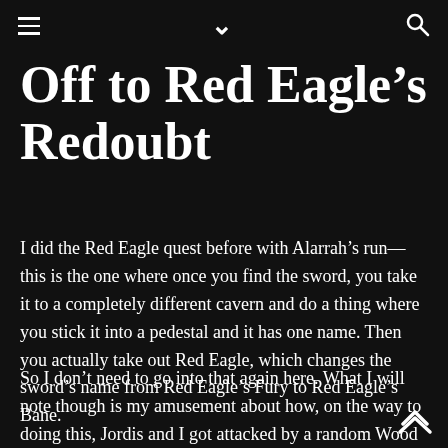☰ ⌄ 🔍
Off to Red Eagle's Redoubt
I did the Red Eagle quest before with Alarrah's run—this is the one where once you find the sword, you take it to a completely different cavern and do a thing where you stick it into a pedestal and it has one name. Then you actually take out Red Eagle, which changes the sword's name from Red Eagle's Fury to Red Eagle's Bane.
So I don't need to go into that again here. What I will note though is my amusement about how, on the way to doing this, Jordis and I got attacked by a random Wood Elf. I've seen this random Wood Elf show up before—it's always a Wood Elf who comes at you unarmed and tries to hit you